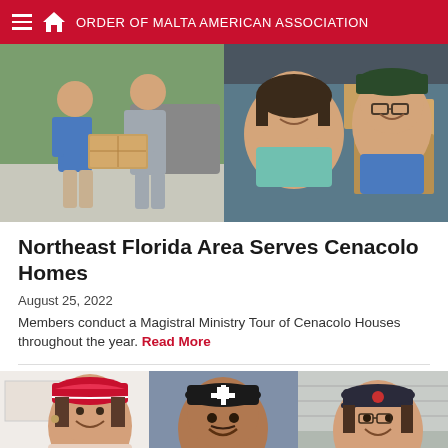ORDER OF MALTA AMERICAN ASSOCIATION
[Figure (photo): Two people holding boxes of food/goods outdoors next to a car (left photo); Two people smiling in a selfie with boxes in the background (right photo)]
Northeast Florida Area Serves Cenacolo Homes
August 25, 2022
Members conduct a Magistral Ministry Tour of Cenacolo Houses throughout the year. Read More
[Figure (photo): Three people smiling wearing hats — first person in red hat, second person in black hat with cross emblem, third person in dark cap]